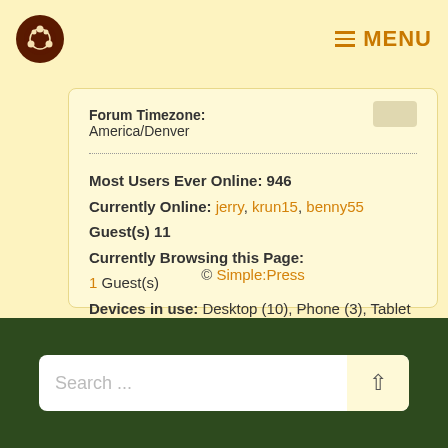MENU
Forum Timezone: America/Denver
Most Users Ever Online: 946
Currently Online: jerry, krun15, benny55
Guest(s) 11
Currently Browsing this Page:
1 Guest(s)
Devices in use: Desktop (10), Phone (3), Tablet (1)
© Simple:Press
Search ...